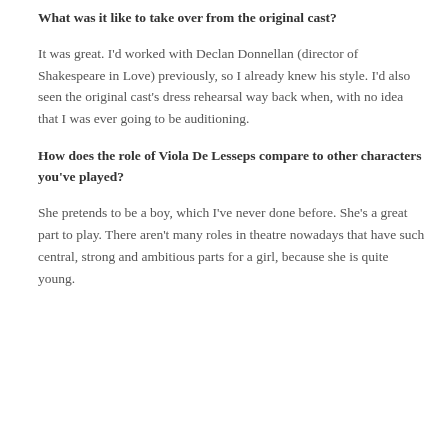credits include BBC's Lady Chatterley's Lover and The White Queen, in addition to Channel 4's Misfits.
What was it like to take over from the original cast?
It was great. I'd worked with Declan Donnellan (director of Shakespeare in Love) previously, so I already knew his style. I'd also seen the original cast's dress rehearsal way back when, with no idea that I was ever going to be auditioning.
How does the role of Viola De Lesseps compare to other characters you've played?
She pretends to be a boy, which I've never done before. She's a great part to play. There aren't many roles in theatre nowadays that have such central, strong and ambitious parts for a girl, because she is quite young.